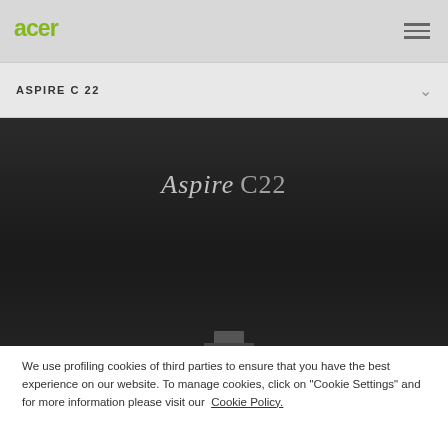[Figure (logo): Acer green logo in top left navigation bar]
ASPIRE C 22
[Figure (screenshot): Dark hero background with 'Aspire C22' text overlay and partial product image at bottom]
We use profiling cookies of third parties to ensure that you have the best experience on our website. To manage cookies, click on "Cookie Settings" and for more information please visit our Cookie Policy.